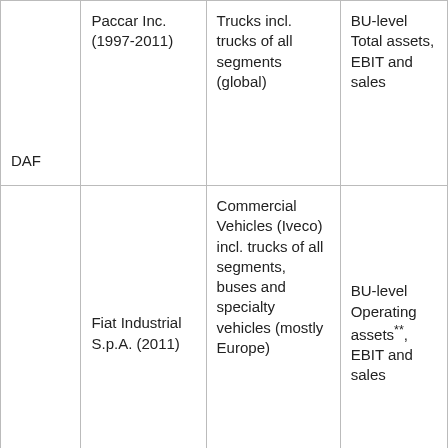| DAF | Paccar Inc. (1997-2011) | Trucks incl. trucks of all segments (global) | BU-level Total assets, EBIT and sales |
| Iveco | Fiat Industrial S.p.A. (2011) | Commercial Vehicles (Iveco) incl. trucks of all segments, buses and specialty vehicles (mostly Europe) | BU-level Operating assets**, EBIT and sales |
|  |  |  |  |